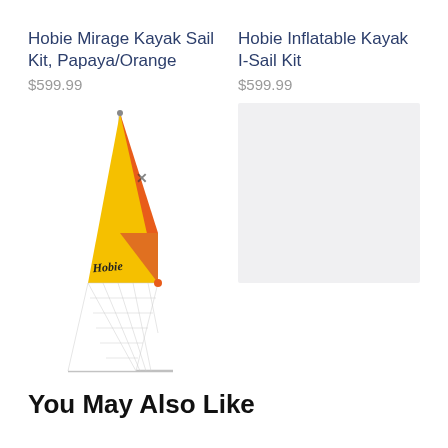Hobie Mirage Kayak Sail Kit, Papaya/Orange
$599.99
[Figure (photo): Hobie Mirage Kayak Sail Kit in Papaya/Orange color — a triangular sail with orange upper section, yellow lower section, white mesh bottom, with Hobie logo branding, mounted on a mast.]
Hobie Inflatable Kayak I-Sail Kit
$599.99
[Figure (photo): Placeholder image (light gray rectangle) for Hobie Inflatable Kayak I-Sail Kit product.]
You May Also Like